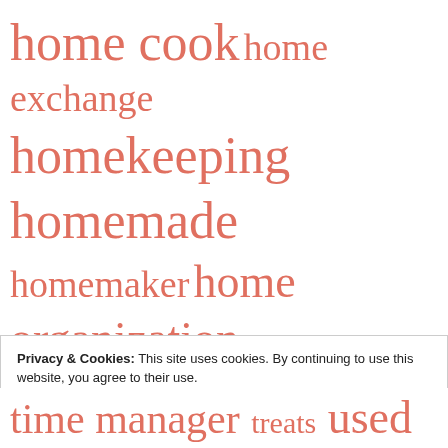[Figure (infographic): Tag cloud with salmon/coral colored words of varying sizes representing blog topics: home cook, home exchange, homekeeping, homemade, homemaker, home organization, homestead, hula hooping, love, make it at home, make it or buy it, manners, meal planning, money manager, parenting, personal finances, re-do, time manager, treats, used clothing]
Privacy & Cookies: This site uses cookies. By continuing to use this website, you agree to their use.
To find out more, including how to control cookies, see here:
Cookie Policy
Close and accept